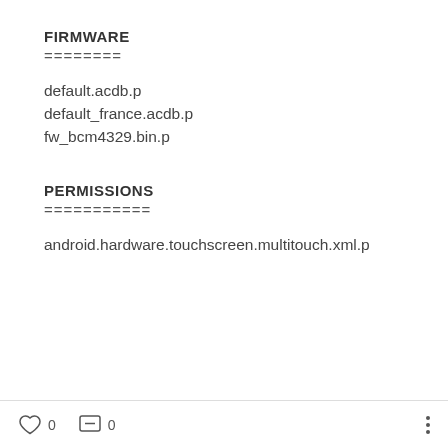FIRMWARE
========
default.acdb.p
default_france.acdb.p
fw_bcm4329.bin.p
PERMISSIONS
===========
android.hardware.touchscreen.multitouch.xml.p
0  0